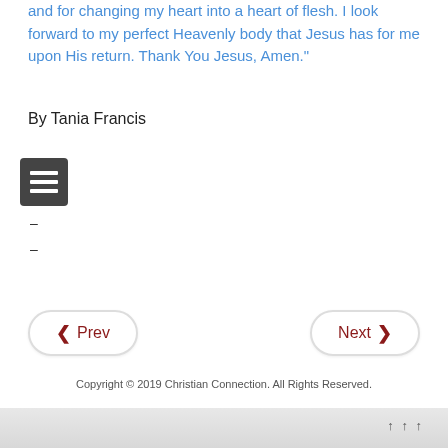and for changing my heart into a heart of flesh. I look forward to my perfect Heavenly body that Jesus has for me upon His return. Thank You Jesus, Amen."
By Tania Francis
[Figure (other): Menu/hamburger icon button with three horizontal white lines on dark gray background]
–
–
◀ Prev
Next ▶
Copyright © 2019 Christian Connection. All Rights Reserved.